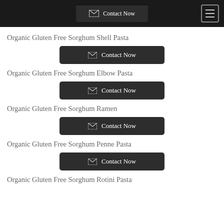Contact Now
Organic Gluten Free Sorghum Shell Pasta
Contact Now
Organic Gluten Free Sorghum Elbow Pasta
Contact Now
Organic Gluten Free Sorghum Ramen
Contact Now
Organic Gluten Free Sorghum Penne Pasta
Contact Now
Organic Gluten Free Sorghum Rotini Pasta